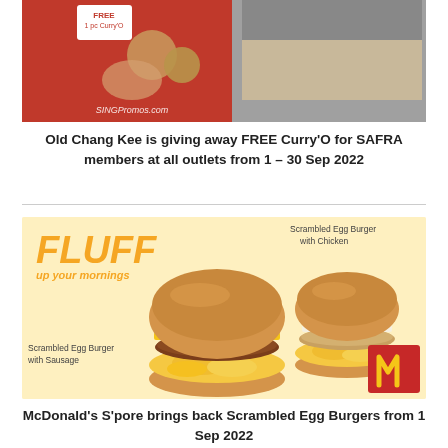[Figure (photo): Old Chang Kee promotional image showing FREE Curry'O offer for SAFRA members, with SINGPromos.com watermark]
Old Chang Kee is giving away FREE Curry'O for SAFRA members at all outlets from 1 – 30 Sep 2022
[Figure (photo): McDonald's Singapore promotional image for Scrambled Egg Burgers - showing Scrambled Egg Burger with Sausage and Scrambled Egg Burger with Chicken, with 'FLUFF up your mornings' text and McDonald's logo]
McDonald's S'pore brings back Scrambled Egg Burgers from 1 Sep 2022